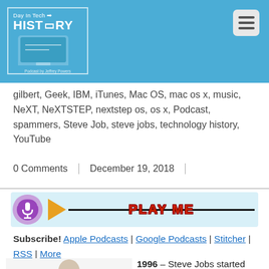[Figure (logo): Day in Tech HISTORY podcast logo with monitor icon, on blue background]
gilbert, Geek, IBM, iTunes, Mac OS, mac os x, music, NeXT, NeXTSTEP, nextstep os, os x, Podcast, spammers, Steve Job, steve jobs, technology history, YouTube
0 Comments | December 19, 2018
[Figure (screenshot): Audio player bar with podcast icon, play button, progress line, and PLAY ME text]
Subscribe! Apple Podcasts | Google Podcasts | Stitcher | RSS | More
[Figure (photo): Photo of Steve Jobs gesturing with hands, wearing white shirt and dark tie]
1996 – Steve Jobs started Apple. When he left Apple, he